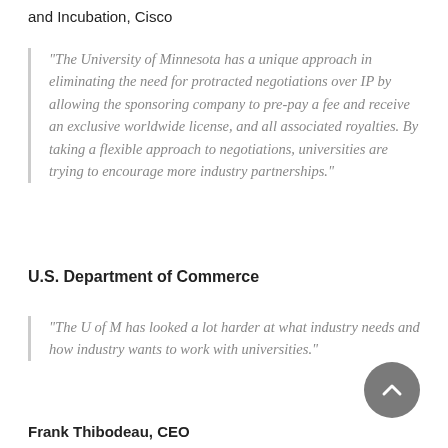and Incubation, Cisco
“The University of Minnesota has a unique approach in eliminating the need for protracted negotiations over IP by allowing the sponsoring company to pre-pay a fee and receive an exclusive worldwide license, and all associated royalties. By taking a flexible approach to negotiations, universities are trying to encourage more industry partnerships.”
U.S. Department of Commerce
“The U of M has looked a lot harder at what industry needs and how industry wants to work with universities.”
Frank Thibodeau, CEO